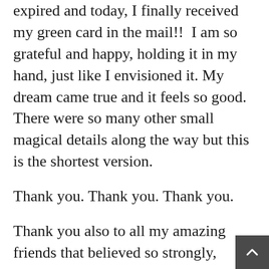expired and today, I finally received my green card in the mail!!  I am so grateful and happy, holding it in my hand, just like I envisioned it. My dream came true and it feels so good. There were so many other small magical details along the way but this is the shortest version.
Thank you. Thank you. Thank you.
Thank you also to all my amazing friends that believed so strongly, helped me every step along the way, and are now celebrating with me.
I hope my story will inspire a few people as much as I always get inspired on this